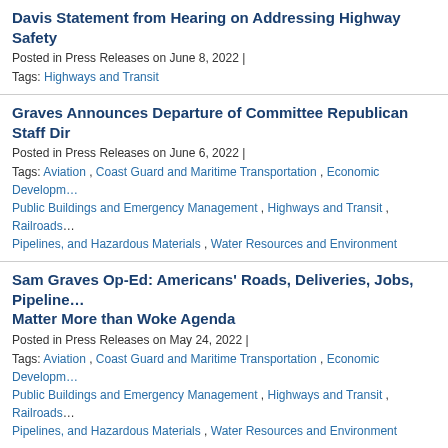Davis Statement from Hearing on Addressing Highway Safety
Posted in Press Releases on June 8, 2022 |
Tags: Highways and Transit
Graves Announces Departure of Committee Republican Staff Dir
Posted in Press Releases on June 6, 2022 |
Tags: Aviation , Coast Guard and Maritime Transportation , Economic Development , Public Buildings and Emergency Management , Highways and Transit , Railroads , Pipelines, and Hazardous Materials , Water Resources and Environment
Sam Graves Op-Ed: Americans' Roads, Deliveries, Jobs, Pipeline Matter More than Woke Agenda
Posted in Press Releases on May 24, 2022 |
Tags: Aviation , Coast Guard and Maritime Transportation , Economic Development , Public Buildings and Emergency Management , Highways and Transit , Railroads , Pipelines, and Hazardous Materials , Water Resources and Environment
Ranking Member Graves in the Washington Times: Oversight of Infrastructure Law
Posted in In The News on May 24, 2022 |
Tags: Aviation , Coast Guard and Maritime Transportation , Economic Development , Public Buildings and Emergency Management , Highways and Transit , Railroads